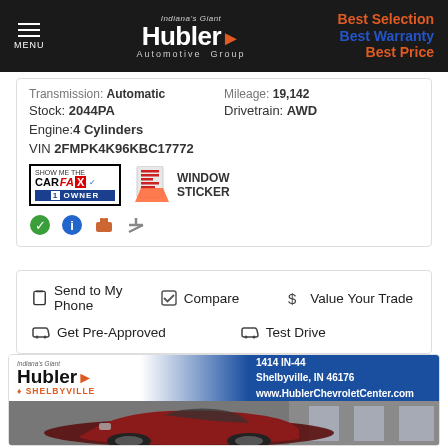Indiana's Giant Hubler Automotive Group | Best Selection Best Warranty Best Price
Transmission: Automatic   Mileage: 19,142
Stock: 2044PA   Drivetrain: AWD
Engine: 4 Cylinders
VIN 2FMPK4K96KBC17772
[Figure (logo): CARFAX Show Me the Carfax 1 Owner badge]
[Figure (illustration): Window Sticker icon]
Send to My Phone   Compare   Value Your Trade
Get Pre-Approved   Test Drive
[Figure (logo): Hubler Shelbyville dealership ad banner with car photo. Address: 1414 IN-44, Shelbyville, IN 46176, www.HublerChevroletCenter.com]